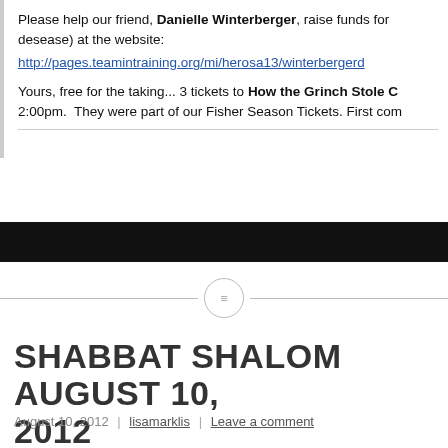Please help our friend, Danielle Winterberger, raise funds for (desease) at the website:
http://pages.teamintraining.org/mi/herosa13/winterbergerd
Yours, free for the taking... 3 tickets to How the Grinch Stole C 2:00pm.  They were part of our Fisher Season Tickets. First com
SHABBAT SHALOM AUGUST 10, 2012
August 10, 2012 | lisamarklis | Leave a comment